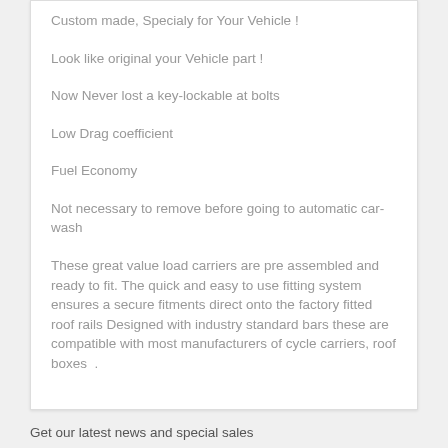Custom made, Specialy for Your Vehicle !
Look like original your Vehicle part !
Now Never lost a key-lockable at bolts
Low Drag coefficient
Fuel Economy
Not necessary to remove before going to automatic car-wash
These great value load carriers are pre assembled and ready to fit. The quick and easy to use fitting system ensures a secure fitments direct onto the factory fitted roof rails Designed with industry standard bars these are compatible with most manufacturers of cycle carriers, roof boxes  .
Get our latest news and special sales